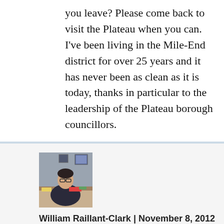you leave? Please come back to visit the Plateau when you can. I've been living in the Mile-End district for over 25 years and it has never been as clean as it is today, thanks in particular to the leadership of the Plateau borough councillors.
[Figure (photo): Avatar photo of William Raillant-Clark, a man sitting at a desk with glasses, wearing a dark jacket]
William Raillant-Clark | November 8, 2012 at 3:04 pm | Reply
*rooting out dirt